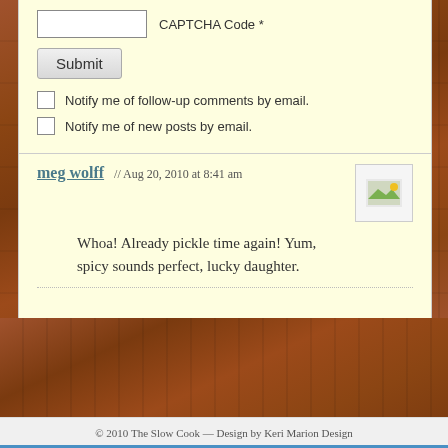CAPTCHA Code *
Submit
Notify me of follow-up comments by email.
Notify me of new posts by email.
meg wolff // Aug 20, 2010 at 8:41 am
Whoa! Already pickle time again! Yum, spicy sounds perfect, lucky daughter.
© 2010 The Slow Cook — Design by Keri Marion Design